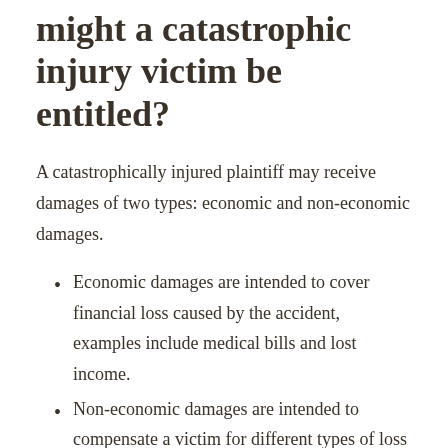might a catastrophic injury victim be entitled?
A catastrophically injured plaintiff may receive damages of two types: economic and non-economic damages.
Economic damages are intended to cover financial loss caused by the accident, examples include medical bills and lost income.
Non-economic damages are intended to compensate a victim for different types of loss